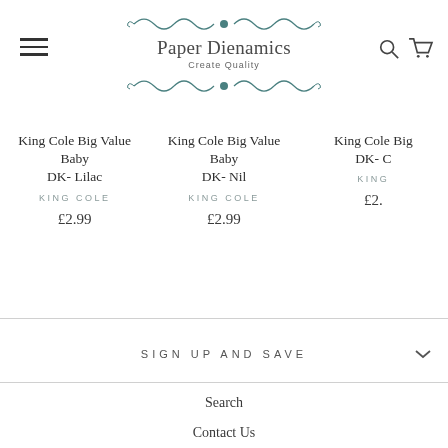Paper Dienamics - Create Quality
King Cole Big Value Baby DK- Lilac
KING COLE
£2.99
King Cole Big Value Baby DK- Nil
KING COLE
£2.99
King Cole Big Value Baby DK- C...
KING...
£2...
SIGN UP AND SAVE
Search
Contact Us
Privacy Policy
Refund Policy